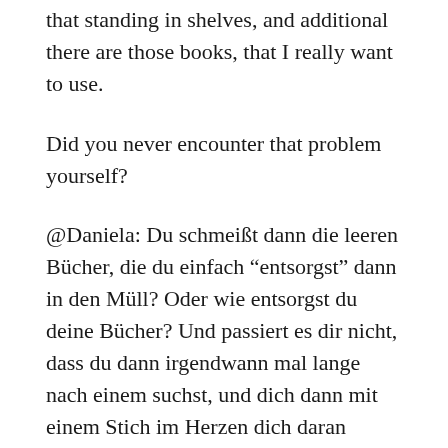that standing in shelves, and additional there are those books, that I really want to use.
Did you never encounter that problem yourself?
@Daniela: Du schmeißt dann die leeren Bücher, die du einfach “entsorgst” dann in den Müll? Oder wie entsorgst du deine Bücher? Und passiert es dir nicht, dass du dann irgendwann mal lange nach einem suchst, und dich dann mit einem Stich im Herzen dich daran erinnerst, dass du es weggeworfen hast?
Liesan